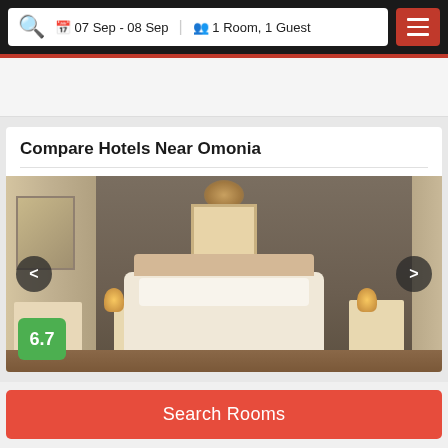07 Sep - 08 Sep  |  1 Room, 1 Guest
Compare Hotels Near Omonia
[Figure (photo): Hotel room interior showing a double bed with white linens, bedside lamps, wall art, wardrobe with mirror, and chandelier. Rating badge showing 6.7 in green.]
Search Rooms
Stylish cozy apartment near the centre, thessalon...